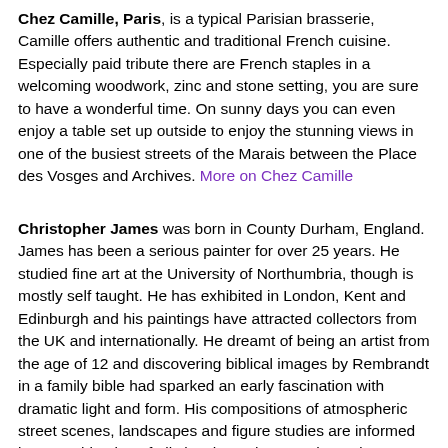Chez Camille, Paris, is a typical Parisian brasserie, Camille offers authentic and traditional French cuisine. Especially paid tribute there are French staples in a welcoming woodwork, zinc and stone setting, you are sure to have a wonderful time. On sunny days you can even enjoy a table set up outside to enjoy the stunning views in one of the busiest streets of the Marais between the Place des Vosges and Archives. More on Chez Camille
Christopher James was born in County Durham, England. James has been a serious painter for over 25 years. He studied fine art at the University of Northumbria, though is mostly self taught. He has exhibited in London, Kent and Edinburgh and his paintings have attracted collectors from the UK and internationally. He dreamt of being an artist from the age of 12 and discovering biblical images by Rembrandt in a family bible had sparked an early fascination with dramatic light and form. His compositions of atmospheric street scenes, landscapes and figure studies are informed by a combination of oil sketches, photography and memory. Ultimately striving to create qualities of light, which reflect